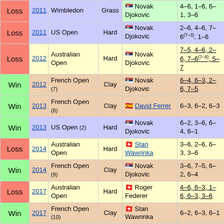| Result | Year | Tournament | Surface | Opponent | Score |
| --- | --- | --- | --- | --- | --- |
| Loss | 2011 | Wimbledon | Grass | Novak Djokovic | 4–6, 1–6, 6–1, 3–6 |
| Loss | 2011 | US Open | Hard | Novak Djokovic | 2–6, 4–6, 7–6(7–3), 1–6 |
| Loss | 2012 | Australian Open | Hard | Novak Djokovic | 7–5, 4–6, 2–6, 7–6(7–5), 5–7 |
| Win | 2012 | French Open (7) | Clay | Novak Djokovic | 6–4, 6–3, 2–6, 7–5 |
| Win | 2013 | French Open (8) | Clay | David Ferrer | 6–3, 6–2, 6–3 |
| Win | 2013 | US Open (2) | Hard | Novak Djokovic | 6–2, 3–6, 6–4, 6–1 |
| Loss | 2014 | Australian Open | Hard | Stan Wawrinka | 3–6, 2–6, 6–3, 3–6 |
| Win | 2014 | French Open (9) | Clay | Novak Djokovic | 3–6, 7–5, 6–2, 6–4 |
| Loss | 2017 | Australian Open | Hard | Roger Federer | 4–6, 6–3, 1–6, 6–3, 3–6 |
| Win | 2017 | French Open (10) | Clay | Stan Wawrinka | 6–2, 6–3, 6–1 |